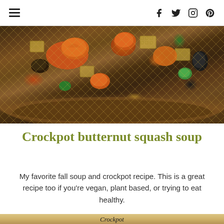≡  f  Twitter  Instagram  Pinterest
[Figure (photo): A wooden bowl filled with a fall snack mix containing Chex cereal squares, candy-coated chocolates in orange and green (pumpkin-shaped), nuts, and other treats viewed from above.]
Crockpot butternut squash soup
My favorite fall soup and crockpot recipe. This is a great recipe too if you're vegan, plant based, or trying to eat healthy.
[Figure (photo): Partial view of a recipe card or sign with the word 'Crockpot' written in script lettering on a light background.]